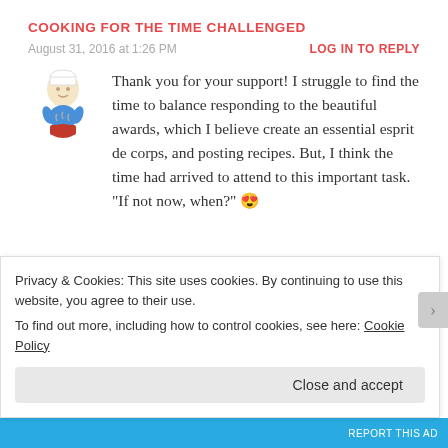COOKING FOR THE TIME CHALLENGED
August 31, 2016 at 1:26 PM
LOG IN TO REPLY
[Figure (illustration): Cartoon chef illustration holding a pot]
Thank you for your support! I struggle to find the time to balance responding to the beautiful awards, which I believe create an essential esprit de corps, and posting recipes. But, I think the time had arrived to attend to this important task. “If not now, when?” 😍
Privacy & Cookies: This site uses cookies. By continuing to use this website, you agree to their use.
To find out more, including how to control cookies, see here: Cookie Policy
Close and accept